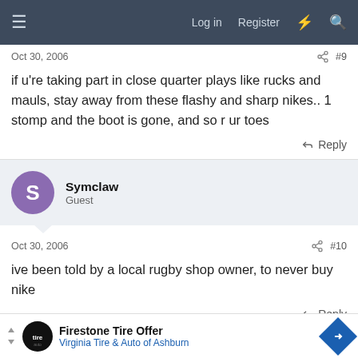≡  Log in  Register  ⚡  🔍
Oct 30, 2006  #9
if u're taking part in close quarter plays like rucks and mauls, stay away from these flashy and sharp nikes.. 1 stomp and the boot is gone, and so r ur toes
Reply
Symclaw
Guest
Oct 30, 2006  #10
ive been told by a local rugby shop owner, to never buy nike
Reply
[Figure (screenshot): Advertisement banner for Firestone Tire Offer - Virginia Tire & Auto of Ashburn]